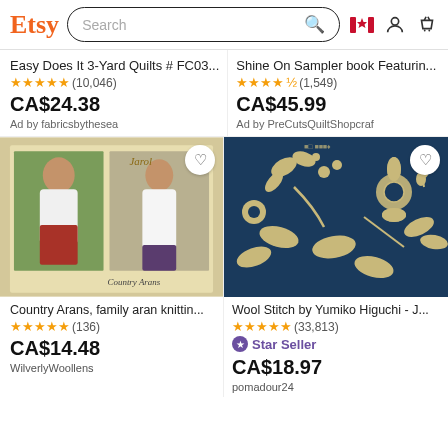[Figure (screenshot): Etsy website header with logo, search bar, Canadian flag icon, user icon, and basket icon]
Easy Does It 3-Yard Quilts # FC03...
★★★★★ (10,046)
CA$24.38
Ad by fabricsbythesea
Shine On Sampler book Featurin...
★★★★½ (1,549)
CA$45.99
Ad by PreCutsQuiltShopcraf
[Figure (photo): Country Arans knitting pattern book cover showing a young girl and woman wearing white aran sweaters]
Country Arans, family aran knittin...
★★★★★ (136)
CA$14.48
WilverlyWoollens
[Figure (photo): Blue fabric with cream-colored wool embroidery featuring flowers, leaves, and botanical motifs]
Wool Stitch by Yumiko Higuchi - J...
★★★★★ (33,813)
Star Seller
CA$18.97
pomadour24